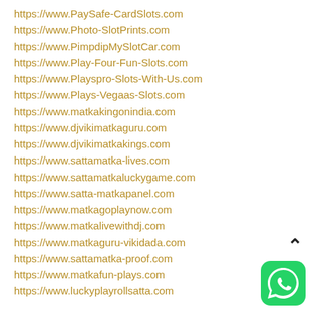https://www.PaySafe-CardSlots.com
https://www.Photo-SlotPrints.com
https://www.PimpdipMySlotCar.com
https://www.Play-Four-Fun-Slots.com
https://www.Playspro-Slots-With-Us.com
https://www.Plays-Vegaas-Slots.com
https://www.matkakingonindia.com
https://www.djvikimatkaguru.com
https://www.djvikimatkakings.com
https://www.sattamatka-lives.com
https://www.sattamatkaluckygame.com
https://www.satta-matkapanel.com
https://www.matkagoplaynow.com
https://www.matkalivewithdj.com
https://www.matkaguru-vikidada.com
https://www.sattamatka-proof.com
https://www.matkafun-plays.com
https://www.luckyplayrollsatta.com
[Figure (illustration): WhatsApp floating action button (green rounded square icon) and scroll-to-top caret arrow]